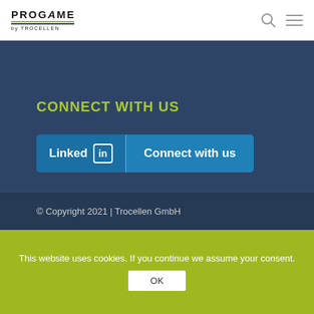PROGAME by TROCELLEN
CONNECT WITH US
[Figure (other): LinkedIn 'Connect with us' button — a two-part button with LinkedIn logo text and 'Connect with us' text on a blue background]
© Copyright 2021 | Trocellen GmbH
This website uses cookies. If you continue we assume your consent.
OK